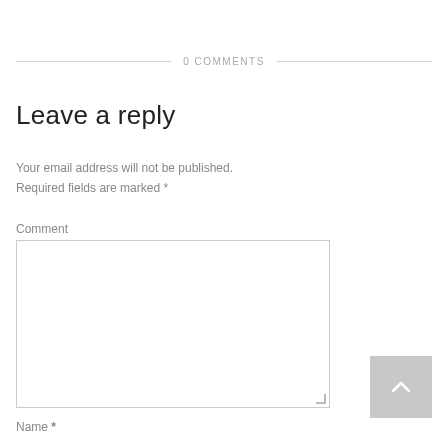0 COMMENTS
Leave a reply
Your email address will not be published. Required fields are marked *
Comment
Name *